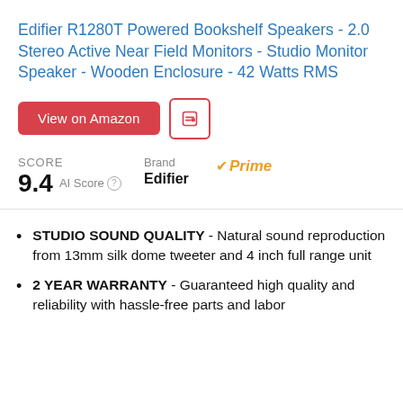Edifier R1280T Powered Bookshelf Speakers - 2.0 Stereo Active Near Field Monitors - Studio Monitor Speaker - Wooden Enclosure - 42 Watts RMS
View on Amazon [button] [save button]
SCORE 9.4 AI Score | Brand ✓Prime Edifier
STUDIO SOUND QUALITY - Natural sound reproduction from 13mm silk dome tweeter and 4 inch full range unit
2 YEAR WARRANTY - Guaranteed high quality and reliability with hassle-free parts and labor